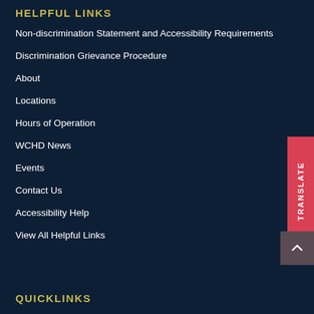HELPFUL LINKS
Non-discrimination Statement and Accessibility Requirements
Discrimination Grievance Procedure
About
Locations
Hours of Operation
WCHD News
Events
Contact Us
Accessibility Help
View All Helpful Links
QUICKLINKS